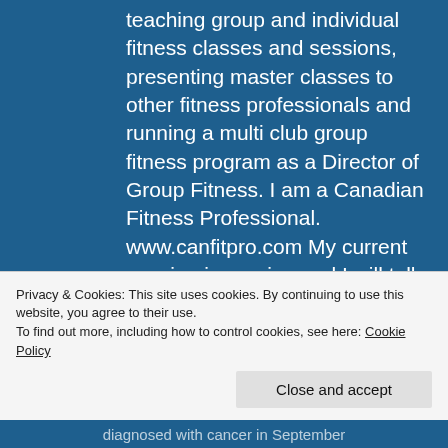teaching group and individual fitness classes and sessions, presenting master classes to other fitness professionals and running a multi club group fitness program as a Director of Group Fitness. I am a Canadian Fitness Professional. www.canfitpro.com My current passion is running and I will talk endlessly about it if given even a small opportunity. I have also been known to brag about my age group placings in races. I run for many reasons, but let's face it, the main
[Figure (photo): Circular profile photo of a blonde woman smiling, set against the blue background.]
Privacy & Cookies: This site uses cookies. By continuing to use this website, you agree to their use.
To find out more, including how to control cookies, see here: Cookie Policy
Close and accept
diagnosed with cancer in September